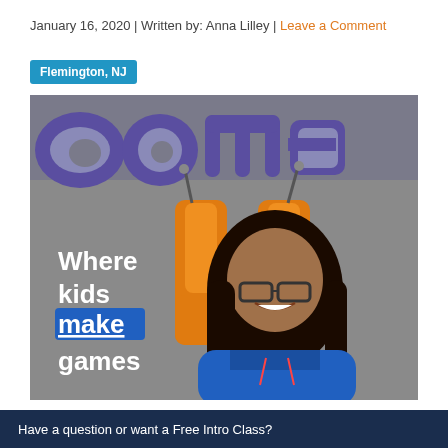January 16, 2020 | Written by: Anna Lilley | Leave a Comment
Flemington, NJ
[Figure (photo): A young girl smiling in front of a game studio wall with text 'Where kids make games' and orange letter U mascot characters. She is wearing a blue hoodie and glasses.]
Have a question or want a Free Intro Class?